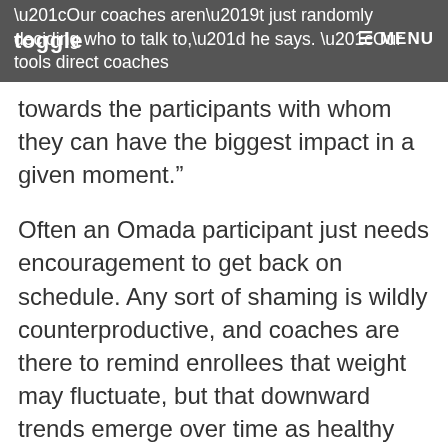toggle MENU “Our coaches aren’t just randomly deciding who to talk to,” he says. “Our tools direct coaches
towards the participants with whom they can have the biggest impact in a given moment.”
Often an Omada participant just needs encouragement to get back on schedule. Any sort of shaming is wildly counterproductive, and coaches are there to remind enrollees that weight may fluctuate, but that downward trends emerge over time as healthy patterns replace destructive ones.
Just good business
The incentive is there for employers too,